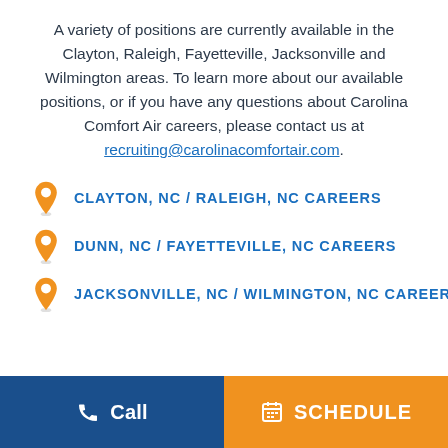A variety of positions are currently available in the Clayton, Raleigh, Fayetteville, Jacksonville and Wilmington areas. To learn more about our available positions, or if you have any questions about Carolina Comfort Air careers, please contact us at recruiting@carolinacomfortair.com.
CLAYTON, NC / RALEIGH, NC CAREERS
DUNN, NC / FAYETTEVILLE, NC CAREERS
JACKSONVILLE, NC / WILMINGTON, NC CAREERS
Call   SCHEDULE